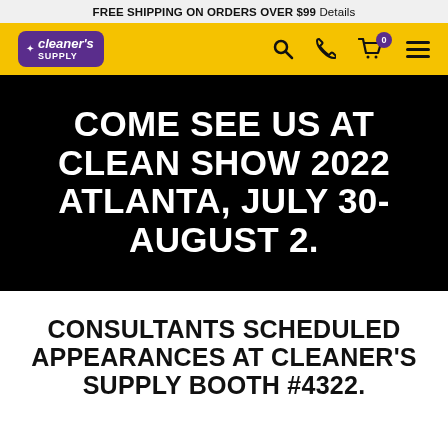FREE SHIPPING ON ORDERS OVER $99 Details
[Figure (logo): Cleaner's Supply logo with shopping cart, search, phone, and hamburger menu icons on yellow navigation bar]
COME SEE US AT CLEAN SHOW 2022 ATLANTA, JULY 30-AUGUST 2.
CONSULTANTS SCHEDULED APPEARANCES AT CLEANER'S SUPPLY BOOTH #4322.